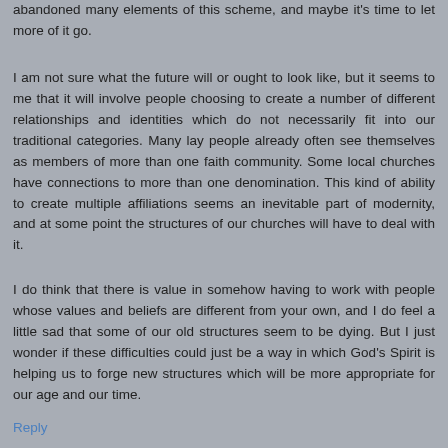abandoned many elements of this scheme, and maybe it's time to let more of it go.
I am not sure what the future will or ought to look like, but it seems to me that it will involve people choosing to create a number of different relationships and identities which do not necessarily fit into our traditional categories. Many lay people already often see themselves as members of more than one faith community. Some local churches have connections to more than one denomination. This kind of ability to create multiple affiliations seems an inevitable part of modernity, and at some point the structures of our churches will have to deal with it.
I do think that there is value in somehow having to work with people whose values and beliefs are different from your own, and I do feel a little sad that some of our old structures seem to be dying. But I just wonder if these difficulties could just be a way in which God's Spirit is helping us to forge new structures which will be more appropriate for our age and our time.
Reply